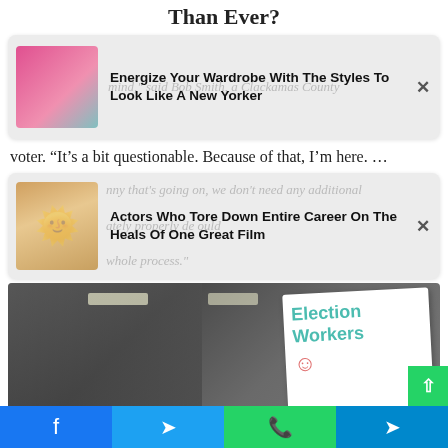Than Ever?
[Figure (screenshot): Advertisement card: woman in pink outfit sitting - Energize Your Wardrobe With The Styles To Look Like A New Yorker]
mind," said Bob Smith, a Clackamas County voter. “It’s a bit questionable. Because of that, I’m here. …
[Figure (screenshot): Advertisement card: blonde woman - Actors Who Tore Down Entire Career On The Heals Of One Great Film]
[Figure (photo): Photo of election workers in a room with masks on, a whiteboard reading 'Election Workers' with a smiley face is visible]
Facebook | Twitter | WhatsApp | Telegram